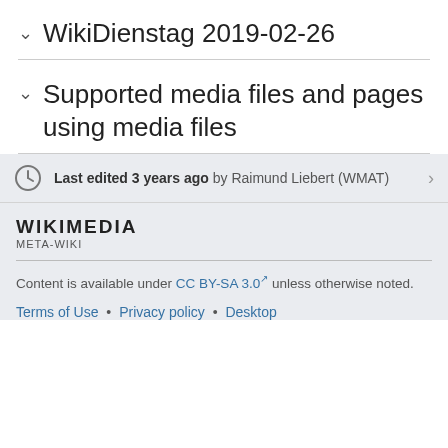WikiDienstag 2019-02-26
Supported media files and pages using media files
Last edited 3 years ago by Raimund Liebert (WMAT)
[Figure (logo): Wikimedia Meta-Wiki logo text]
Content is available under CC BY-SA 3.0 unless otherwise noted.
Terms of Use • Privacy policy • Desktop